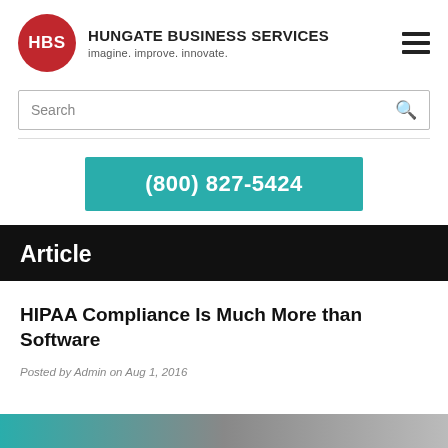[Figure (logo): HBS logo circle in red with white text, beside company name Hungate Business Services and tagline]
Search
(800) 827-5424
Article
HIPAA Compliance Is Much More than Software
Posted by Admin on Aug 1, 2016